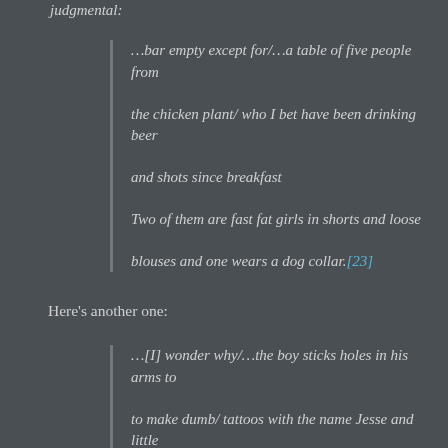judgmental:
...bar empty except for/...a table of five people from

the chicken plant/ who I bet have been drinking beer

and shots since breakfast

Two of them are fast fat girls in shorts and loose

blouses and one wears a dog collar.[23]
Here’s another one:
...[I] wonder why/...the boy sticks holes in his arms to

to make dumb/ tattoos with the name Jesse and little

stars and crosses,/ how he will die with that sentimental